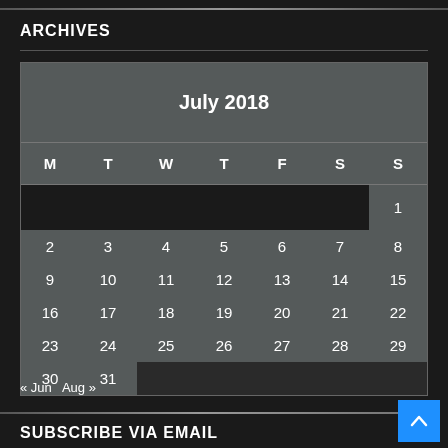ARCHIVES
[Figure (other): July 2018 calendar widget showing days 1-31, with navigation links « Jun and Aug »]
« Jun  Aug »
SUBSCRIBE VIA EMAIL